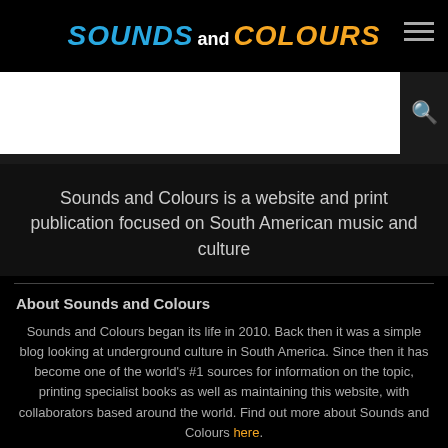SOUNDS and COLOURS
[Figure (other): Search bar area with white background and dark search icon box on right]
Sounds and Colours is a website and print publication focused on South American music and culture
About Sounds and Colours
Sounds and Colours began its life in 2010. Back then it was a simple blog looking at underground culture in South America. Since then it has become one of the world's #1 sources for information on the topic, printing specialist books as well as maintaining this website, with collaborators based around the world. Find out more about Sounds and Colours here.